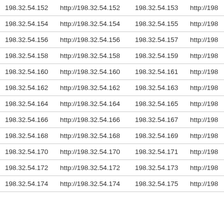| 198.32.54.152 | http://198.32.54.152 | 198.32.54.153 | http://198 |
| 198.32.54.154 | http://198.32.54.154 | 198.32.54.155 | http://198 |
| 198.32.54.156 | http://198.32.54.156 | 198.32.54.157 | http://198 |
| 198.32.54.158 | http://198.32.54.158 | 198.32.54.159 | http://198 |
| 198.32.54.160 | http://198.32.54.160 | 198.32.54.161 | http://198 |
| 198.32.54.162 | http://198.32.54.162 | 198.32.54.163 | http://198 |
| 198.32.54.164 | http://198.32.54.164 | 198.32.54.165 | http://198 |
| 198.32.54.166 | http://198.32.54.166 | 198.32.54.167 | http://198 |
| 198.32.54.168 | http://198.32.54.168 | 198.32.54.169 | http://198 |
| 198.32.54.170 | http://198.32.54.170 | 198.32.54.171 | http://198 |
| 198.32.54.172 | http://198.32.54.172 | 198.32.54.173 | http://198 |
| 198.32.54.174 | http://198.32.54.174 | 198.32.54.175 | http://198 |